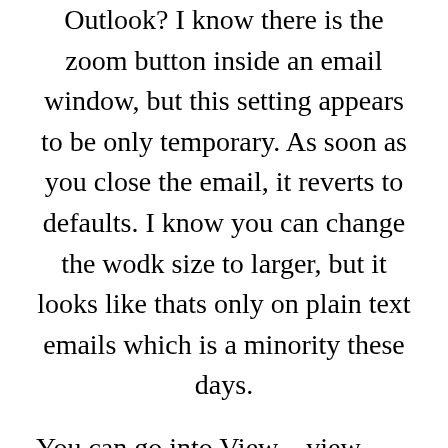Outlook? I know there is the zoom button inside an email window, but this setting appears to be only temporary. As soon as you close the email, it reverts to defaults. I know you can change the wodk size to larger, but it looks like thats only on plain text emails which is a minority these days.
You can go into View – view settings – other settings and change the column font and row font, standard i think is 8pt. Or even within display- change the view from smaller to